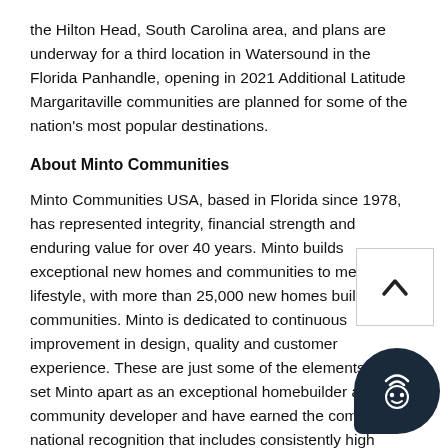the Hilton Head, South Carolina area, and plans are underway for a third location in Watersound in the Florida Panhandle, opening in 2021 Additional Latitude Margaritaville communities are planned for some of the nation's most popular destinations.
About Minto Communities
Minto Communities USA, based in Florida since 1978, has represented integrity, financial strength and enduring value for over 40 years. Minto builds exceptional new homes and communities to meet every lifestyle, with more than 25,000 new homes built communities. Minto is dedicated to continuous improvement in design, quality and customer experience. These are just some of the elements that set Minto apart as an exceptional homebuilder and community developer and have earned the company national recognition that includes consistently high rankings from Eliant Customer Service Surveys. Minto